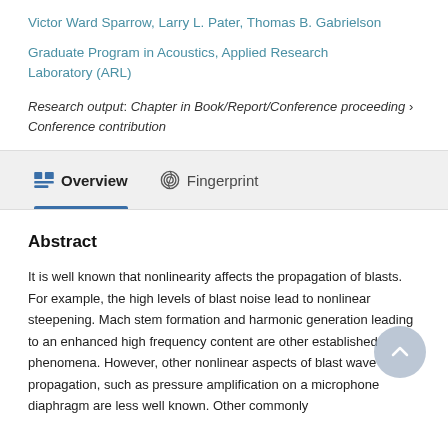Victor Ward Sparrow, Larry L. Pater, Thomas B. Gabrielson
Graduate Program in Acoustics, Applied Research Laboratory (ARL)
Research output: Chapter in Book/Report/Conference proceeding › Conference contribution
Overview
Fingerprint
Abstract
It is well known that nonlinearity affects the propagation of blasts. For example, the high levels of blast noise lead to nonlinear steepening. Mach stem formation and harmonic generation leading to an enhanced high frequency content are other established phenomena. However, other nonlinear aspects of blast wave propagation, such as pressure amplification on a microphone diaphragm are less well known. Other commonly